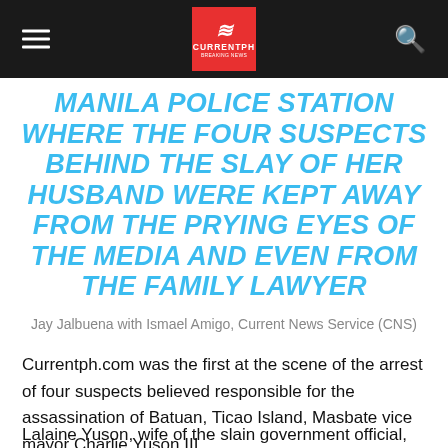CURRENTPH
MANILA POLICE STATION WHERE THE FOUR SUSPECTS BEHIND THE SLAY OF HER HUSBAND WERE KEPT AWAY FROM THE PRYING EYES OF THE MEDIA AND EVEN FROM THE FAMILY LAWYER
Jay Jalbuena with Ismael Amigo, Current News Service (CNS)
Currentph.com was the first at the scene of the arrest of four suspects believed responsible for the assassination of Batuan, Ticao Island, Masbate vice mayor Charlie Yuson III.
Lalaine Yuson, wife of the slain government official, initially protested why Manila cops refused to show her the arrested